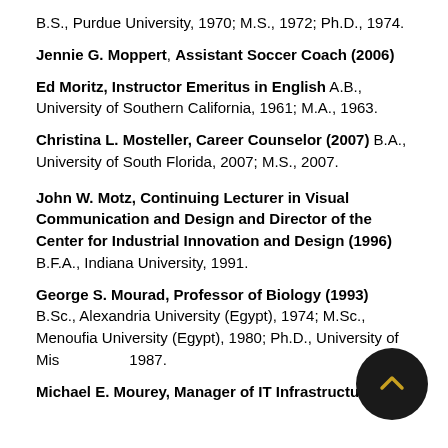B.S., Purdue University, 1970; M.S., 1972; Ph.D., 1974.
Jennie G. Moppert, Assistant Soccer Coach (2006)
Ed Moritz, Instructor Emeritus in English A.B., University of Southern California, 1961; M.A., 1963.
Christina L. Mosteller, Career Counselor (2007) B.A., University of South Florida, 2007; M.S., 2007.
John W. Motz, Continuing Lecturer in Visual Communication and Design and Director of the Center for Industrial Innovation and Design (1996) B.F.A., Indiana University, 1991.
George S. Mourad, Professor of Biology (1993) B.Sc., Alexandria University (Egypt), 1974; M.Sc., Menoufia University (Egypt), 1980; Ph.D., University of Missouri, 1987.
Michael E. Mourey, Manager of IT Infrastructure